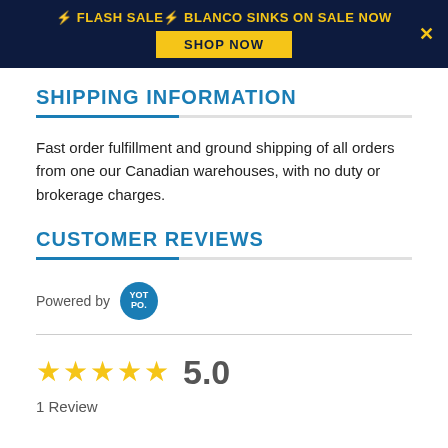⚡ FLASH SALE⚡ BLANCO SINKS ON SALE NOW SHOP NOW
SHIPPING INFORMATION
Fast order fulfillment and ground shipping of all orders from one our Canadian warehouses, with no duty or brokerage charges.
CUSTOMER REVIEWS
[Figure (logo): Powered by YOTPO logo badge]
★★★★★ 5.0
1 Review